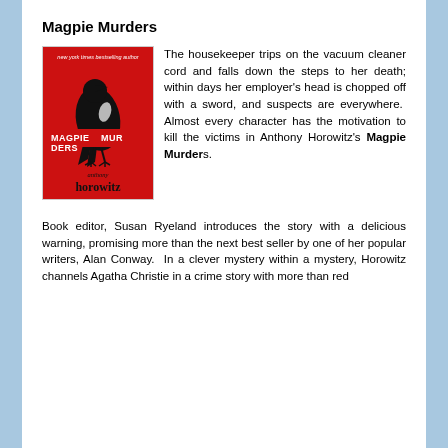Magpie Murders
[Figure (photo): Book cover of 'Magpie Murders' by Anthony Horowitz — red background with a large black magpie silhouette, 'new york times bestseller author' text at top, 'MAGPIE MURDERS' in white bold text across the middle, 'anthony horowitz' in black text at bottom]
The housekeeper trips on the vacuum cleaner cord and falls down the steps to her death; within days her employer's head is chopped off with a sword, and suspects are everywhere.  Almost every character has the motivation to kill the victims in Anthony Horowitz's Magpie Murders.
Book editor, Susan Ryeland introduces the story with a delicious warning, promising more than the next best seller by one of her popular writers, Alan Conway.  In a clever mystery within a mystery, Horowitz channels Agatha Christie in a crime story with more than red herrings. More details here. Fascinating story and